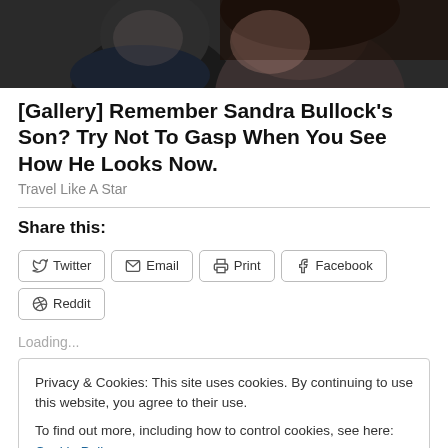[Figure (photo): Top portion of a photo showing two people, dark background, cropped faces]
[Gallery] Remember Sandra Bullock's Son? Try Not To Gasp When You See How He Looks Now.
Travel Like A Star
Share this:
Twitter Email Print Facebook Reddit
Loading...
Privacy & Cookies: This site uses cookies. By continuing to use this website, you agree to their use.
To find out more, including how to control cookies, see here: Cookie Policy
Close and accept
June 6, 2001